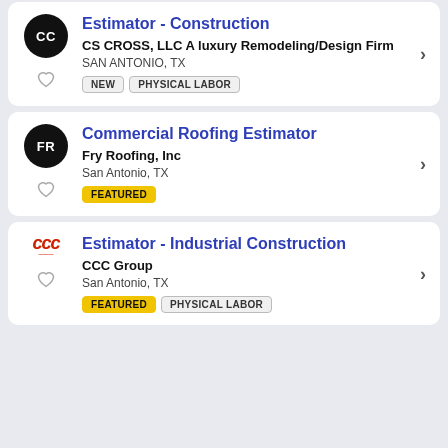Estimator - Construction | CS CROSS, LLC A luxury Remodeling/Design Firm | SAN ANTONIO, TX | NEW | PHYSICAL LABOR
Commercial Roofing Estimator | Fry Roofing, Inc | San Antonio, TX | FEATURED
Estimator - Industrial Construction | CCC Group | San Antonio, TX | FEATURED | PHYSICAL LABOR